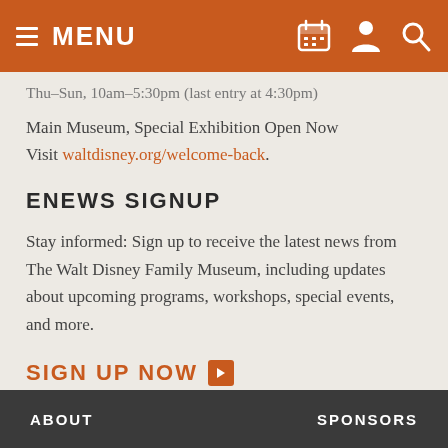MENU
Thu–Sun, 10am–5:30pm (last entry at 4:30pm)
Main Museum, Special Exhibition Open Now
Visit waltdisney.org/welcome-back.
ENEWS SIGNUP
Stay informed: Sign up to receive the latest news from The Walt Disney Family Museum, including updates about upcoming programs, workshops, special events, and more.
SIGN UP NOW ▶
ABOUT    SPONSORS